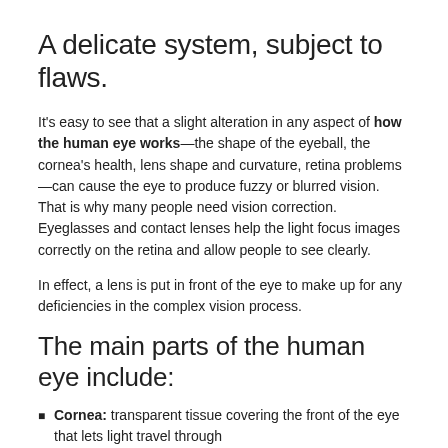A delicate system, subject to flaws.
It’s easy to see that a slight alteration in any aspect of how the human eye works—the shape of the eyeball, the cornea’s health, lens shape and curvature, retina problems—can cause the eye to produce fuzzy or blurred vision. That is why many people need vision correction. Eyeglasses and contact lenses help the light focus images correctly on the retina and allow people to see clearly.
In effect, a lens is put in front of the eye to make up for any deficiencies in the complex vision process.
The main parts of the human eye include:
Cornea: transparent tissue covering the front of the eye that lets light travel through